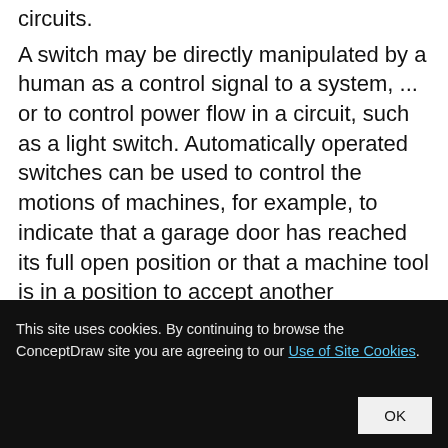circuits. A switch may be directly manipulated by a human as a control signal to a system, ... or to control power flow in a circuit, such as a light switch. Automatically operated switches can be used to control the motions of machines, for example, to indicate that a garage door has reached its full open position or that a machine tool is in a position to accept another workpiece.
This site uses cookies. By continuing to browse the ConceptDraw site you are agreeing to our Use of Site Cookies.